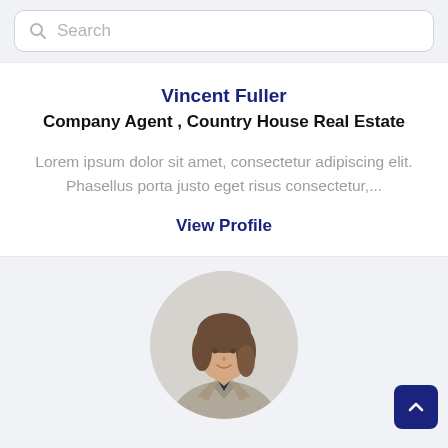Search
Vincent Fuller
Company Agent , Country House Real Estate
Lorem ipsum dolor sit amet, consectetur adipiscing elit. Phasellus porta justo eget risus consectetur,...
View Profile
[Figure (photo): Circular portrait photo of a young woman with shoulder-length brown hair, wearing a grey blazer, arms crossed, smiling slightly]